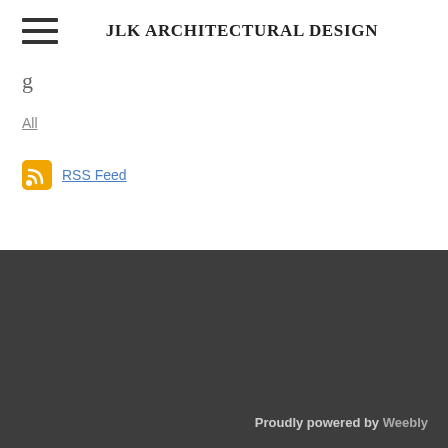JLK ARCHITECTURAL DESIGN
All
[Figure (other): RSS feed icon — orange rounded square with white RSS signal symbol]
RSS Feed
Proudly powered by Weebly